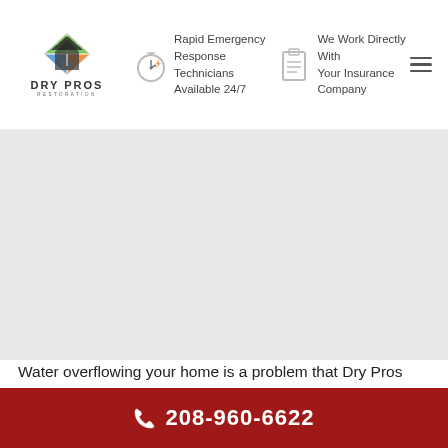[Figure (logo): Dry Pros Restoration logo with diamond/house icon and text]
Rapid Emergency Response Technicians Available 24/7
We Work Directly With Your Insurance Company
[Figure (photo): Large hero image area - appears blank/white in this view]
Water overflowing your home is a problem that Dry Pros Restoration can solve. We have the water damage repairs facilities to return your home to peak quality in Star, ID. Water Restoration experts suggest immediate intervention otherwise you are at risk of mold and structural damage. We have
208-960-6622